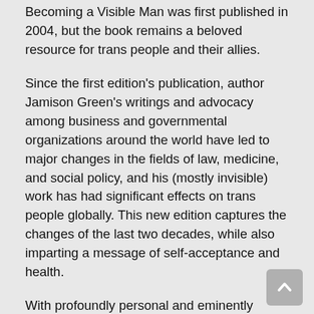Becoming a Visible Man was first published in 2004, but the book remains a beloved resource for trans people and their allies.
Since the first edition's publication, author Jamison Green's writings and advocacy among business and governmental organizations around the world have led to major changes in the fields of law, medicine, and social policy, and his (mostly invisible) work has had significant effects on trans people globally. This new edition captures the changes of the last two decades, while also imparting a message of self-acceptance and health.
With profoundly personal and eminently practical threads, Green clarifies transgender experience for transgender people and their families, friends, and coworkers. Medical and mental health care providers, educators, business leaders, and advocates seeking information about